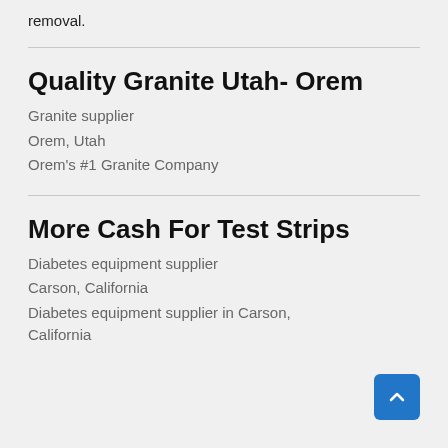removal.
Quality Granite Utah- Orem
Granite supplier
Orem, Utah
Orem's #1 Granite Company
More Cash For Test Strips
Diabetes equipment supplier
Carson, California
Diabetes equipment supplier in Carson, California